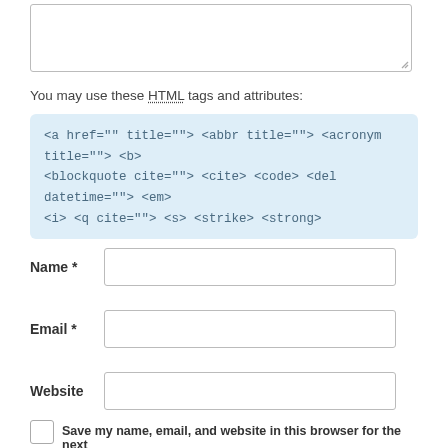[Figure (other): Textarea input box with resize handle]
You may use these HTML tags and attributes:
<a href="" title=""> <abbr title=""> <acronym title=""> <b> <blockquote cite=""> <cite> <code> <del datetime=""> <em> <i> <q cite=""> <s> <strike> <strong>
Name *
Email *
Website
Save my name, email, and website in this browser for the next